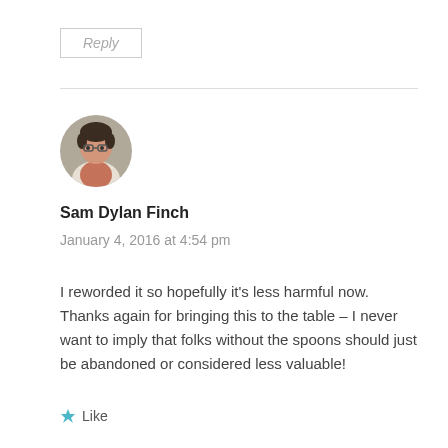Reply
[Figure (photo): Circular avatar photo of Sam Dylan Finch, a person with curly hair wearing a light jacket over an orange shirt, photographed outdoors]
Sam Dylan Finch
January 4, 2016 at 4:54 pm
I reworded it so hopefully it's less harmful now. Thanks again for bringing this to the table – I never want to imply that folks without the spoons should just be abandoned or considered less valuable!
Like